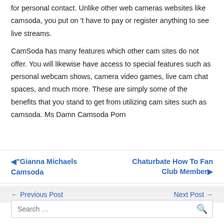for personal contact. Unlike other web cameras websites like camsoda, you put on 't have to pay or register anything to see live streams.
CamSoda has many features which other cam sites do not offer. You will likewise have access to special features such as personal webcam shows, camera video games, live cam chat spaces, and much more. These are simply some of the benefits that you stand to get from utilizing cam sites such as camsoda. Ms Damn Camsoda Porn
◄"Gianna Michaels Camsoda
Chaturbate How To Fan Club Member►
← Previous Post    Next Post →
Search …